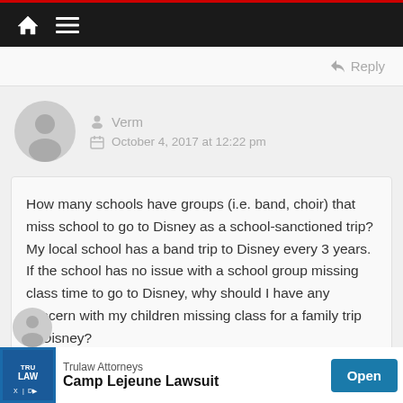Navigation bar with home and menu icons
Reply
Verm
October 4, 2017 at 12:22 pm
How many schools have groups (i.e. band, choir) that miss school to go to Disney as a school-sanctioned trip? My local school has a band trip to Disney every 3 years. If the school has no issue with a school group missing class time to go to Disney, why should I have any concern with my children missing class for a family trip to Disney?
Reply
[Figure (infographic): Trulaw Attorneys Camp Lejeune Lawsuit advertisement with Open button]